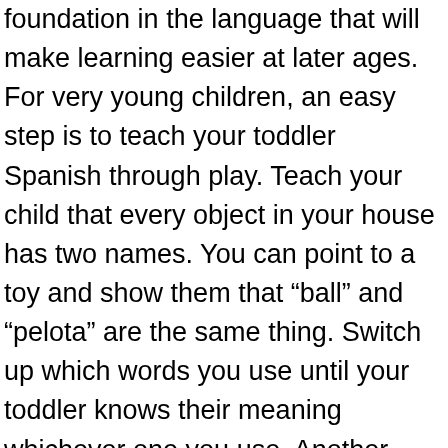foundation in the language that will make learning easier at later ages. For very young children, an easy step is to teach your toddler Spanish through play. Teach your child that every object in your house has two names. You can point to a toy and show them that “ball” and “pelota” are the same thing. Switch up which words you use until your toddler knows their meaning whichever one you use. Another trick is to have one parent use only English words for things, while another parent uses only Spanish words. A child will learn to say things “mommy style” or “daddy style.” As they get older, they will realize they are learning two different languages. Steps like these are the groundwork to raising a bilingual child.
You can also teach your toddler how to read Spanish. Once your child knows a story and can read along with you in English, try reading the same story in Spanish. A toddler who loves “The Cat in the Hat” will be motivated to learn